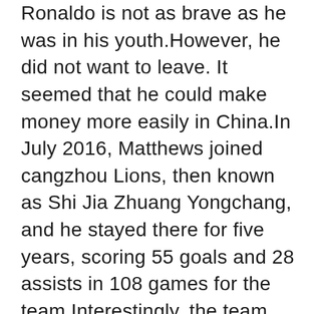Ronaldo is not as brave as he was in his youth.However, he did not want to leave. It seemed that he could make money more easily in China.In July 2016, Matthews joined cangzhou Lions, then known as Shi Jia Zhuang Yongchang, and he stayed there for five years, scoring 55 goals and 28 assists in 108 games for the team.Interestingly, the team was relegated to the Second division in the same year after Matthews came to Shijiazhuang.Later, although the team has rushed super successful performance, but also dropped to the Top, and repeatedly in the effort to rush super.In July 2021, Matthews left zhejiang As a free agent and also had 22 games, 7 goals and 2 assists.As you can see, it is true that he has made money in the Chinese Super League and Chinese League A, but he is also doing his best to contribute to the team.In addition, Matthews discussed the details of her lifestyle expenses in the interview.Ma said he was eager to buy some high-end products, but had little money, but after playing in the